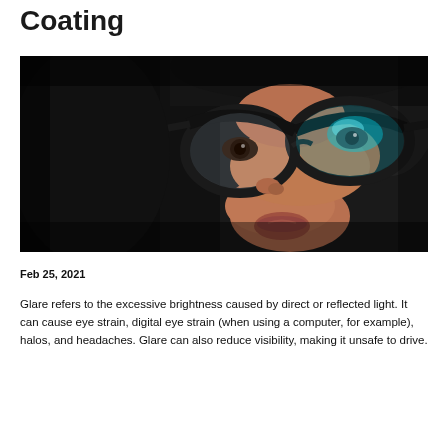Coating
[Figure (photo): Close-up portrait of a young woman wearing glasses with a blue light reflection visible on the lens, dark background]
Feb 25, 2021
Glare refers to the excessive brightness caused by direct or reflected light. It can cause eye strain, digital eye strain (when using a computer, for example), halos, and headaches. Glare can also reduce visibility, making it unsafe to drive.